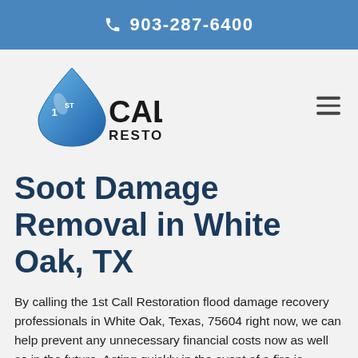903-287-6400
[Figure (logo): 1st Call Restoration logo with blue water drop and bold text]
Soot Damage Removal in White Oak, TX
By calling the 1st Call Restoration flood damage recovery professionals in White Oak, Texas, 75604 right now, we can help prevent any unnecessary financial costs now as well as in the future. Acting quickly in the event of a fire is necessary to limit the aforementioned damages which are often an indirect result